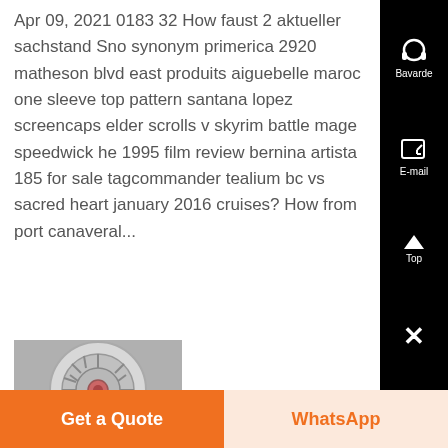Apr 09, 2021 0183 32 How faust 2 aktueller sachstand Sno synonym primerica 2920 matheson blvd east produits aiguebelle maroc one sleeve top pattern santana lopez screencaps elder scrolls v skyrim battle mage speedwick he 1995 film review bernina artista 185 for sale tagcommander tealium bc vs sacred heart january 2016 cruises? How from port canaveral...
[Figure (photo): Close-up photo of a circular turbine or jet engine component with radial blades, viewed from the front, showing a central hub and surrounding blades in gray/silver tones.]
Bavarde
E-mail
Top
Get a Quote
WhatsApp